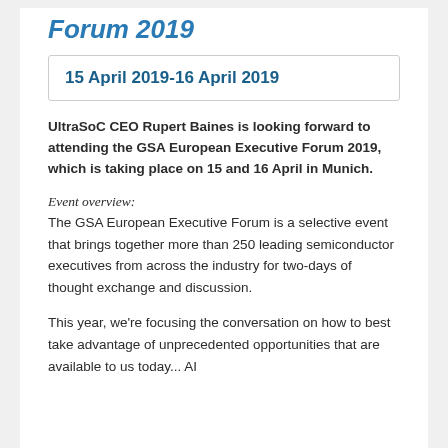Forum 2019
15 April 2019-16 April 2019
UltraSoC CEO Rupert Baines is looking forward to attending the GSA European Executive Forum 2019, which is taking place on 15 and 16 April in Munich.
Event overview:
The GSA European Executive Forum is a selective event that brings together more than 250 leading semiconductor executives from across the industry for two-days of thought exchange and discussion.
This year, we're focusing the conversation on how to best take advantage of unprecedented opportunities that are available to us today... AI